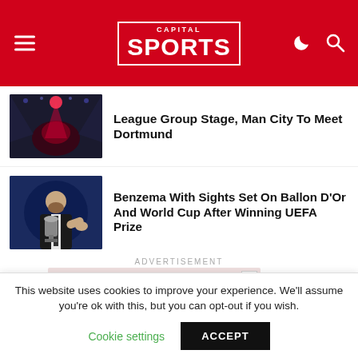CAPITAL SPORTS
League Group Stage, Man City To Meet Dortmund
Benzema With Sights Set On Ballon D'Or And World Cup After Winning UEFA Prize
ADVERTISEMENT
[Figure (photo): Advertisement banner showing colorful roses - pink, purple, yellow flowers]
This website uses cookies to improve your experience. We'll assume you're ok with this, but you can opt-out if you wish.
Cookie settings   ACCEPT